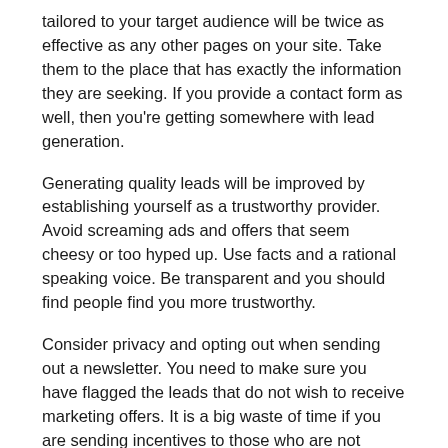tailored to your target audience will be twice as effective as any other pages on your site. Take them to the place that has exactly the information they are seeking. If you provide a contact form as well, then you're getting somewhere with lead generation.
Generating quality leads will be improved by establishing yourself as a trustworthy provider. Avoid screaming ads and offers that seem cheesy or too hyped up. Use facts and a rational speaking voice. Be transparent and you should find people find you more trustworthy.
Consider privacy and opting out when sending out a newsletter. You need to make sure you have flagged the leads that do not wish to receive marketing offers. It is a big waste of time if you are sending incentives to those who are not buying, but it's also unnecessary to send anything thing to those who have opted out for privacy reasons.
Know the value of new business leads. Some leads simply won't work for what you are trying to do. Don't pursue leads that don't fall within your target audience. You can achieve success if you pick the right leads.
Make sure you have unique leads. It is not difficult to get so involved in purchasing or obtaining leads in other manners that you forget that some of your leads may be duplicates. It's easy to see that the same leads will show up when you're generating them. When targeting a